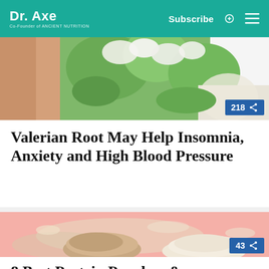Dr. Axe — Co-Founder of Ancient Nutrition | Subscribe
[Figure (photo): Valerian plant with white flowers and green leaves, natural background]
Valerian Root May Help Insomnia, Anxiety and High Blood Pressure
[Figure (photo): Protein powder scoops on a pink background — brown and white powder varieties]
8 Best Protein Powders &